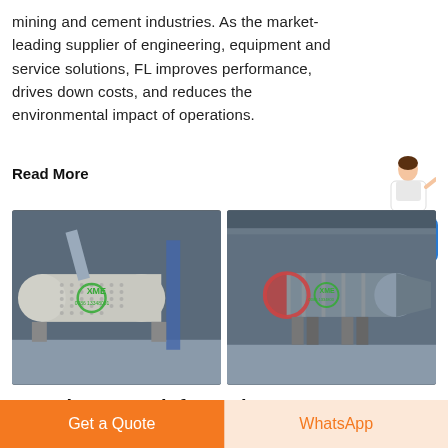mining and cement industries. As the market-leading supplier of engineering, equipment and service solutions, FL improves performance, drives down costs, and reduces the environmental impact of operations.
Read More
[Figure (photo): Industrial ball mill / drum equipment with XME logo in a factory/warehouse setting, left view]
[Figure (photo): Industrial rotary drum / mill equipment with XME logo in a factory/warehouse setting, right view]
Retsch contact information –
Get a Quote
WhatsApp